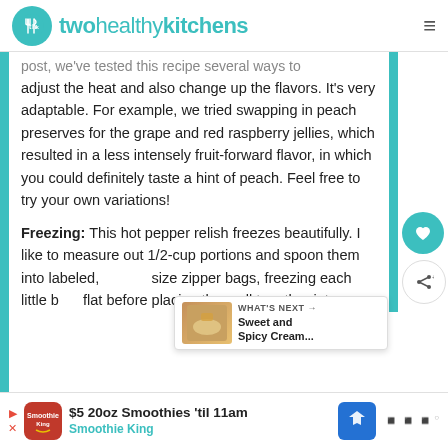twohealthykitchens
post, we've tested this recipe several ways to adjust the heat and also change up the flavors. It's very adaptable. For example, we tried swapping in peach preserves for the grape and red raspberry jellies, which resulted in a less intensely fruit-forward flavor, in which you could definitely taste a hint of peach. Feel free to try your own variations!
Freezing: This hot pepper relish freezes beautifully. I like to measure out 1/2-cup portions and spoon them into labeled, size zipper bags, freezing each little b flat before placing them all together into a
[Figure (photo): Small thumbnail image of a creamy dish, part of WHAT'S NEXT widget showing Sweet and Spicy Cream...]
WHAT'S NEXT → Sweet and Spicy Cream...
[Figure (infographic): Advertisement banner for Smoothie King: $5 20oz Smoothies 'til 11am]